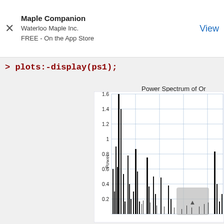Maple Companion
Waterloo Maple Inc.
FREE - On the App Store | View
> plots:-display(ps1);
[Figure (continuous-plot): Power spectrum plot titled 'Power Spectrum of Or...' showing vertical spikes at various frequencies. Y-axis labeled 'Power' ranges from 0 to 1.6 with gridlines at 0.2, 0.4, 0.6, 0.8, 1, 1.2, 1.4, 1.6. Dominant spike near 1.6, several spikes around 0.8-1.2, and many smaller spikes.]